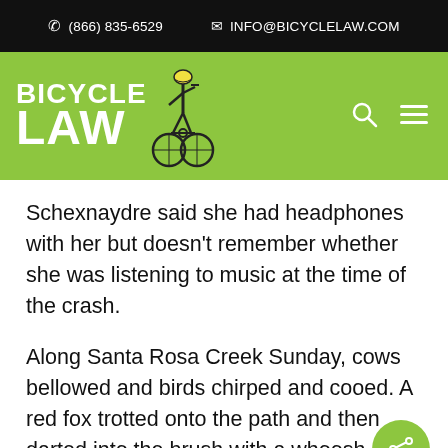(866) 835-6529   INFO@BICYCLELAW.COM
[Figure (logo): Bicycle Law logo with bicycle icon on green background, with search and hamburger menu icons]
Schexnaydre said she had headphones with her but doesn't remember whether she was listening to music at the time of the crash.
Along Santa Rosa Creek Sunday, cows bellowed and birds chirped and cooed. A red fox trotted onto the path and then darted into the brush with a whoosh.
Van Halen pumped through, Justin